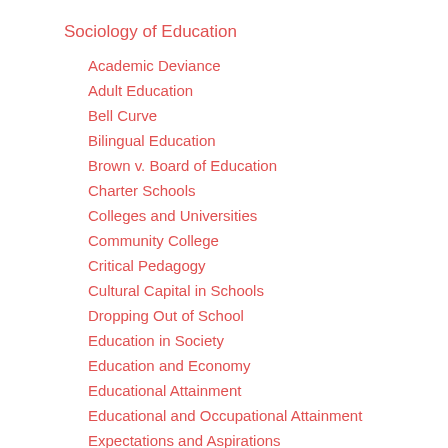Sociology of Education
Academic Deviance
Adult Education
Bell Curve
Bilingual Education
Brown v. Board of Education
Charter Schools
Colleges and Universities
Community College
Critical Pedagogy
Cultural Capital in Schools
Dropping Out of School
Education in Society
Education and Economy
Educational Attainment
Educational and Occupational Attainment
Expectations and Aspirations